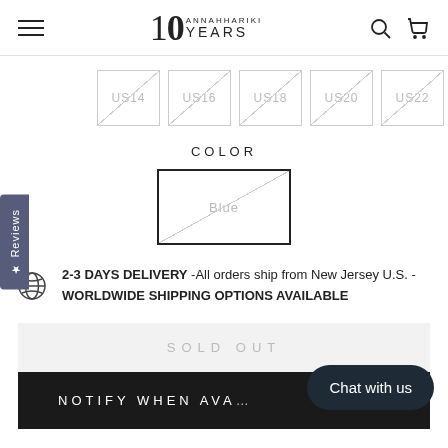10 ANNAHHARIKI YEARS — navigation header with hamburger menu, logo, search and cart icons
US14  US16  US18  US20  US22 (size options, all crossed out/unavailable)
COLOR
Blue (color option, crossed out/unavailable)
2-3 DAYS DELIVERY -All orders ship from New Jersey U.S. -WORLDWIDE SHIPPING OPTIONS AVAILABLE
SOLD OUT
NOTIFY WHEN AVA...
Chat with us